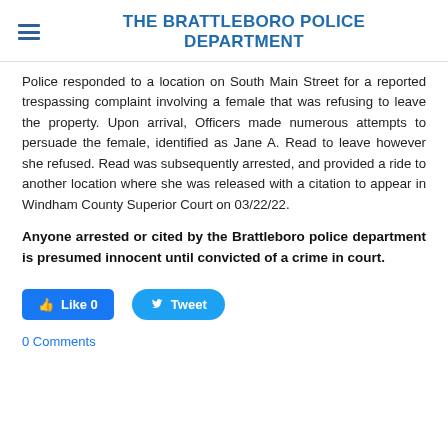THE BRATTLEBORO POLICE DEPARTMENT
Police responded to a location on South Main Street for a reported trespassing complaint involving a female that was refusing to leave the property. Upon arrival, Officers made numerous attempts to persuade the female, identified as Jane A. Read to leave however she refused. Read was subsequently arrested, and provided a ride to another location where she was released with a citation to appear in Windham County Superior Court on 03/22/22.
Anyone arrested or cited by the Brattleboro police department is presumed innocent until convicted of a crime in court.
Like 0   Tweet
0 Comments